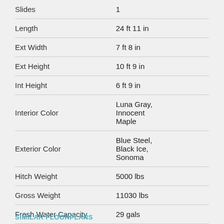| Specification | Value |
| --- | --- |
| Slides | 1 |
| Length | 24 ft 11 in |
| Ext Width | 7 ft 8 in |
| Ext Height | 10 ft 9 in |
| Int Height | 6 ft 9 in |
| Interior Color | Luna Gray, Innocent Maple |
| Exterior Color | Blue Steel, Black Ice, Sonoma |
| Hitch Weight | 5000 lbs |
| Gross Weight | 11030 lbs |
| Fresh Water Capacity | 29 gals |
SIMILAR FLOORPLANS